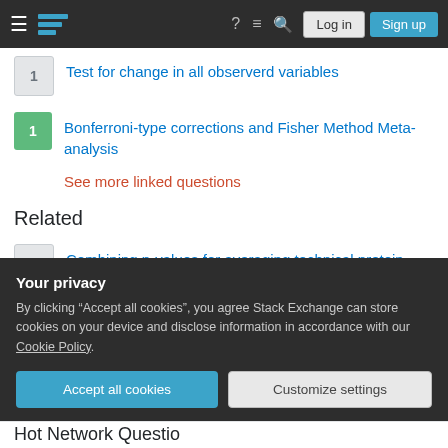Stack Exchange navigation bar with Log in and Sign up buttons
1 — Test for change in all observerd variables
1 — Bonferroni-type corrections and Fisher Method Meta-analysis
See more linked questions
Related
5 — Combining p-values for averaging technical protein quantification replicates in python
2 — distribution of 'median difference' in permutation test
11 — Expectation of square root of sum of independent squared
Your privacy
By clicking "Accept all cookies", you agree Stack Exchange can store cookies on your device and disclose information in accordance with our Cookie Policy.
Accept all cookies   Customize settings